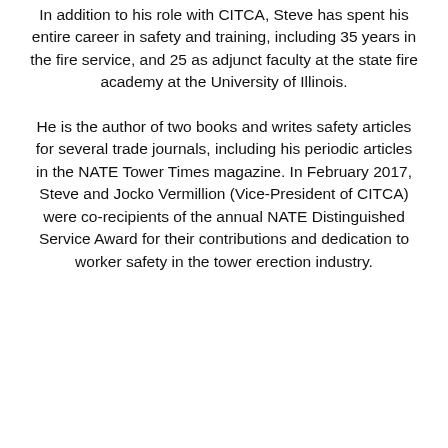In addition to his role with CITCA, Steve has spent his entire career in safety and training, including 35 years in the fire service, and 25 as adjunct faculty at the state fire academy at the University of Illinois.
He is the author of two books and writes safety articles for several trade journals, including his periodic articles in the NATE Tower Times magazine. In February 2017, Steve and Jocko Vermillion (Vice-President of CITCA) were co-recipients of the annual NATE Distinguished Service Award for their contributions and dedication to worker safety in the tower erection industry.